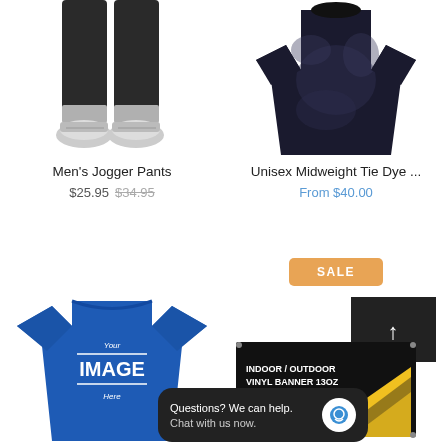[Figure (photo): Men's jogger pants product photo showing legs and sneakers]
[Figure (photo): Unisex Midweight Tie Dye sweatshirt product photo in dark color]
Men's Jogger Pants
$25.95  $34.95
Unisex Midweight Tie Dye ...
From $40.00
SALE
[Figure (photo): Blue custom t-shirt with 'Your IMAGE Here' text]
[Figure (photo): Indoor/Outdoor Vinyl Banner 13oz product photo]
Questions? We can help.
Chat with us now.